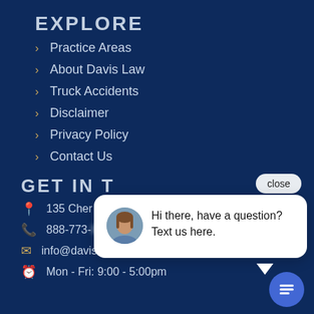EXPLORE
Practice Areas
About Davis Law
Truck Accidents
Disclaimer
Privacy Policy
Contact Us
GET IN T[OUCH]
135 Cher[ry...]
888-773-[...]
info@davislawgroupnc.com
Mon - Fri: 9:00 - 5:00pm
[Figure (screenshot): Chat popup widget with close button, avatar of a woman, and text: Hi there, have a question? Text us here. Also a blue circular chat button at bottom right.]